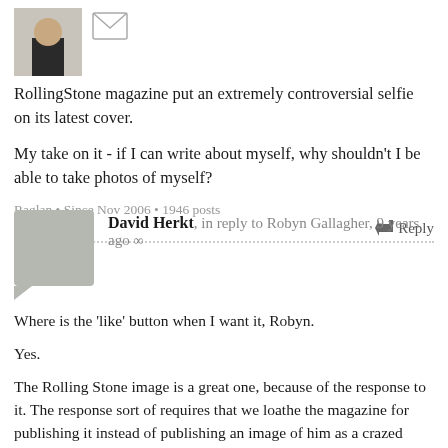[Figure (photo): Small avatar photo of a person, and an envelope/mail icon next to it]
RollingStone magazine put an extremely controversial selfie on its latest cover.
My take on it - if I can write about myself, why shouldn't I be able to take photos of myself?
Raglan • Since Nov 2006 • 1946 posts
↵ Reply
David Herkt, in reply to Robyn Gallagher, 9 years ago ∞
Where is the 'like' button when I want it, Robyn.
Yes.
The Rolling Stone image is a great one, because of the response to it. The response sort of requires that we loathe the magazine for publishing it instead of publishing an image of him as a crazed mullah. Note the surreptitiously released images with the laser-red in the middle of his forehead.